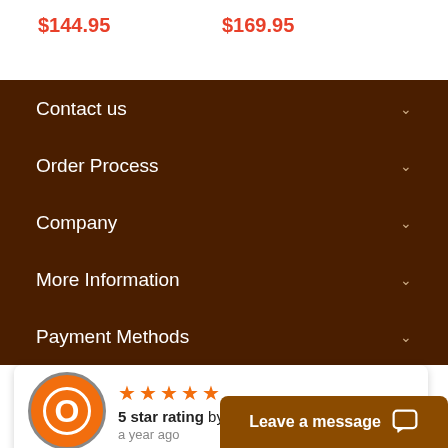$144.95
$169.95
Contact us
Order Process
Company
More Information
Payment Methods
5 star rating by Oscar G. a year ago